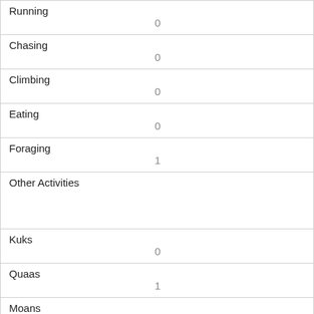| Field | Value |
| --- | --- |
| Running | 0 |
| Chasing | 0 |
| Climbing | 0 |
| Eating | 0 |
| Foraging | 1 |
| Other Activities |  |
| Kuks | 0 |
| Quaas | 1 |
| Moans | 0 |
| Tail flags | 1 |